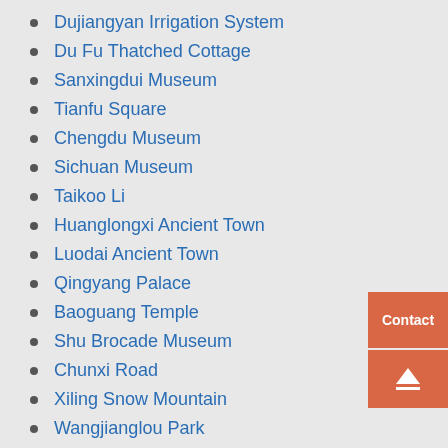Dujiangyan Irrigation System
Du Fu Thatched Cottage
Sanxingdui Museum
Tianfu Square
Chengdu Museum
Sichuan Museum
Taikoo Li
Huanglongxi Ancient Town
Luodai Ancient Town
Qingyang Palace
Baoguang Temple
Shu Brocade Museum
Chunxi Road
Xiling Snow Mountain
Wangjianglou Park
New Century Global Center
Sichuan Cuisine Museum
Shufengyayun Sichuan Opera House